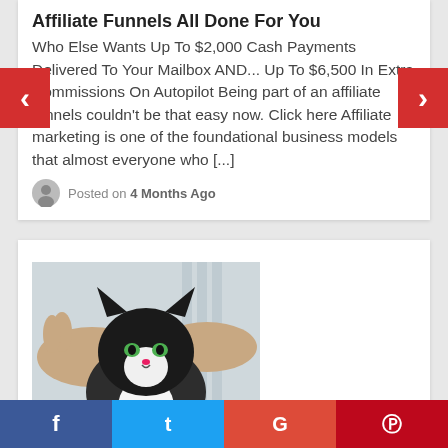Affiliate Funnels All Done For You
Who Else Wants Up To $2,000 Cash Payments Delivered To Your Mailbox AND... Up To $6,500 In Extra Commissions On Autopilot Being part of an affiliate funnels couldn't be that easy now. Click here Affiliate marketing is one of the foundational business models that almost everyone who [...]
Posted on 4 Months Ago
[Figure (photo): A black and white cat being held by human hands, appearing to be at a vet or examination setting]
How To Pick Up A Cat Like A Pro
f  t  G  p